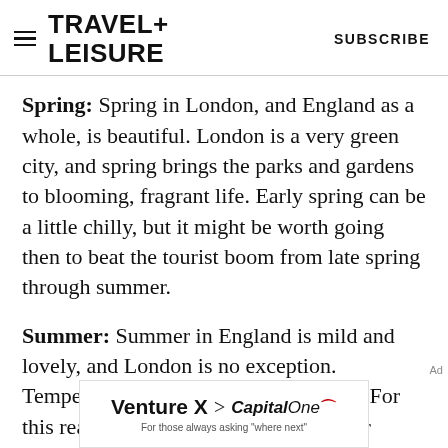TRAVEL+ LEISURE | SUBSCRIBE
Spring: Spring in London, and England as a whole, is beautiful. London is a very green city, and spring brings the parks and gardens to blooming, fragrant life. Early spring can be a little chilly, but it might be worth going then to beat the tourist boom from late spring through summer.
Summer: Summer in England is mild and lovely, and London is no exception. Temperatures rarely climb above 75°F. For this reason, it is by far the most popular season for travel, and hotel and flight prices tend to reflect that — however, it's also inherently a
[Figure (other): Venture X Capital One advertisement banner]